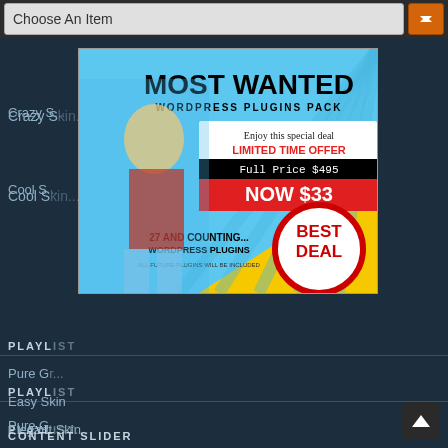Choose An Item
Crazy S...
Cool S...
PLAYL...
Pure G...
Easy Skin
Elegant Skin
[Figure (advertisement): Most Wanted WordPress Plugins Pack advertisement. Cowgirl cartoon illustration. Text: MOST WANTED WORDPRESS PLUGINS PACK. Enjoy this special deal. LIMITED TIME OFFER. Full Price $495. NOW $33. 27 AND COUNTING... WORDPRESS PLUGINS. ALL FUTURE PLUGINS WILL BE INCLUDED. BEST DEAL badge.]
CONTENT SLIDER